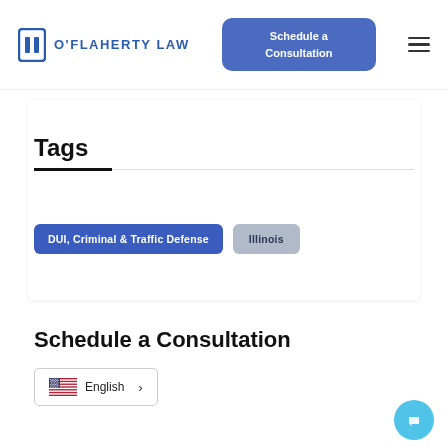O'Flaherty Law | Schedule a Consultation
Tags
DUI, Criminal & Traffic Defense
Illinois
Schedule a Consultation
English